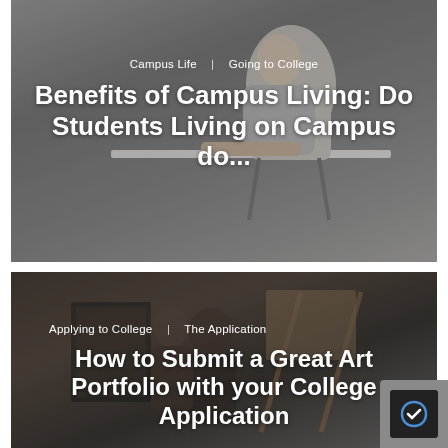[Figure (photo): Article card with gray background photo of a student sitting at a desk, seen from behind. Text overlay shows category tags and article title about campus living.]
Benefits of Campus Living: Do Students Living on Campus do...
[Figure (photo): Article card with dark brown background photo of students working on art. Text overlay shows category tags and article title about art portfolio submission.]
How to Submit a Great Art Portfolio with your College Application